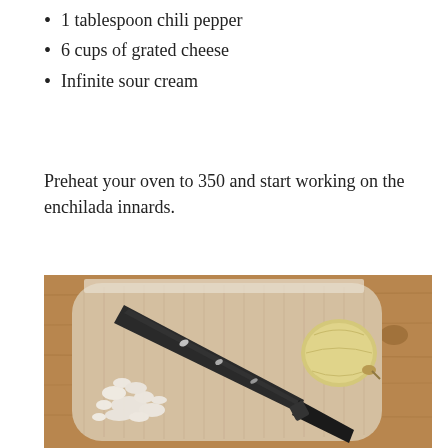1 tablespoon chili pepper
6 cups of grated cheese
Infinite sour cream
Preheat your oven to 350 and start working on the enchilada innards.
[Figure (photo): A black chef's knife and a whole onion on a bamboo cutting board, with chopped onion pieces scattered near the blade. The cutting board sits on a wooden surface.]